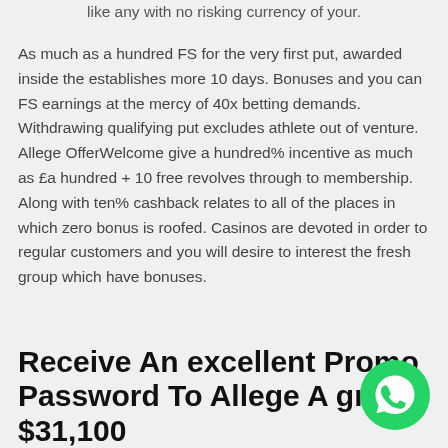like any with no risking currency of your.
As much as a hundred FS for the very first put, awarded inside the establishes more 10 days. Bonuses and you can FS earnings at the mercy of 40x betting demands. Withdrawing qualifying put excludes athlete out of venture. Allege OfferWelcome give a hundred% incentive as much as £a hundred + 10 free revolves through to membership. Along with ten% cashback relates to all of the places in which zero bonus is roofed. Casinos are devoted in order to regular customers and you will desire to interest the fresh group which have bonuses.
Receive An excellent Promo Password To Allege A great $31,100